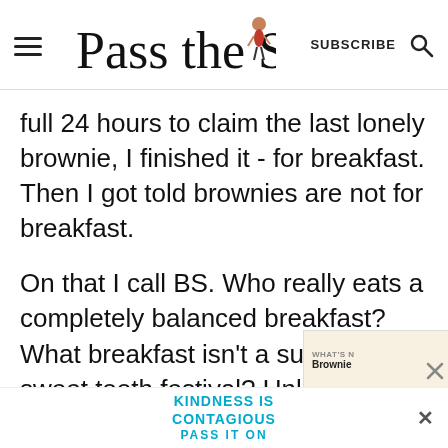Pass the Sushi — SUBSCRIBE (search icon)
full 24 hours to claim the last lonely brownie, I finished it - for breakfast. Then I got told brownies are not for breakfast.
On that I call BS. Who really eats a completely balanced breakfast? What breakfast isn't a sugar loaded sweet tooth festival? Unless yo
[Figure (screenshot): Ad banner at bottom: KINDNESS IS CONTAGIOUS PASS IT ON in blue text with close X button]
[Figure (screenshot): WHAT'S NEXT thumbnail with Brownie label and food photo at lower right]